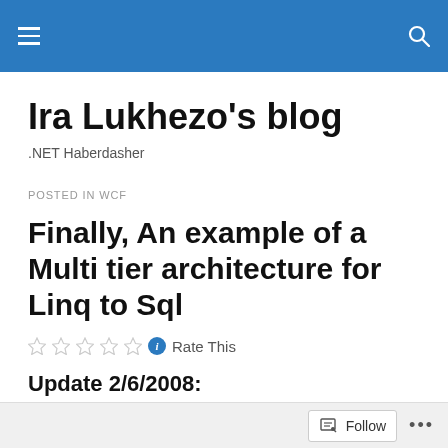Ira Lukhezo's blog — site navigation header
Ira Lukhezo's blog
.NET Haberdasher
POSTED IN WCF
Finally, An example of a Multi tier architecture for Linq to Sql
Rate This
Update 2/6/2008:
Follow